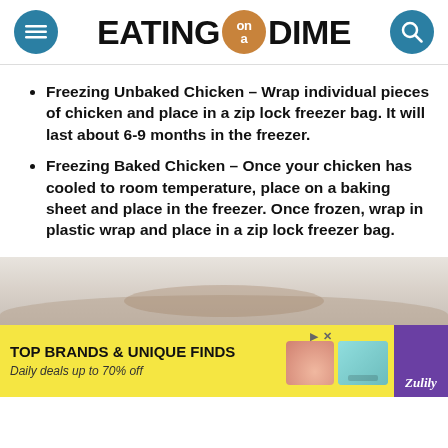EATING on a DIME
Freezing Unbaked Chicken – Wrap individual pieces of chicken and place in a zip lock freezer bag. It will last about 6-9 months in the freezer.
Freezing Baked Chicken – Once your chicken has cooled to room temperature, place on a baking sheet and place in the freezer. Once frozen, wrap in plastic wrap and place in a zip lock freezer bag.
[Figure (photo): Partial photo of a dish of baked chicken in a baking pan, cropped at bottom of page]
TOP BRANDS & UNIQUE FINDS
Daily deals up to 70% off